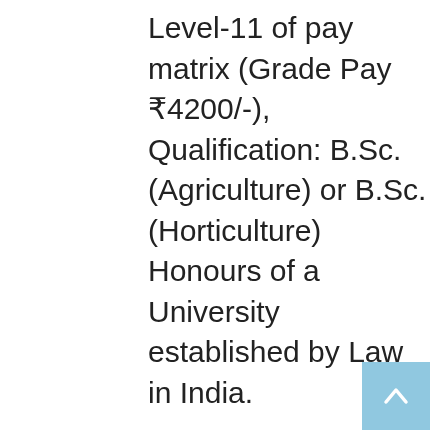Level-11 of pay matrix (Grade Pay ₹4200/-), Qualification: B.Sc. (Agriculture) or B.Sc. (Horticulture) Honours of a University established by Law in India.